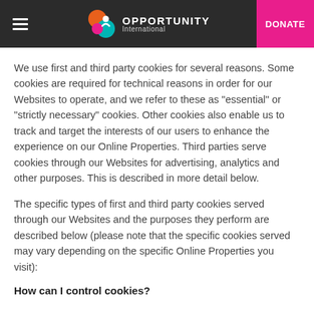OPPORTUNITY International | DONATE
We use first and third party cookies for several reasons. Some cookies are required for technical reasons in order for our Websites to operate, and we refer to these as "essential" or "strictly necessary" cookies. Other cookies also enable us to track and target the interests of our users to enhance the experience on our Online Properties. Third parties serve cookies through our Websites for advertising, analytics and other purposes. This is described in more detail below.
The specific types of first and third party cookies served through our Websites and the purposes they perform are described below (please note that the specific cookies served may vary depending on the specific Online Properties you visit):
How can I control cookies?